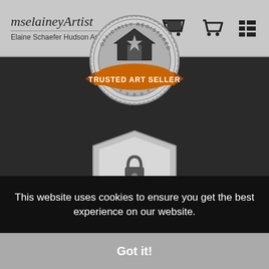mselaineyArtist / Elaine Schaefer Hudson Art
[Figure (logo): Trusted Art Seller badge - circular seal with house/star icon, orange ribbon banner reading TRUSTED ART SELLER, text OFFICIALLY REGISTERED around top]
[Figure (logo): Verified Secure Website shield badge with padlock icon, text VERIFIED SECURE WEBSITE, orange ribbon at bottom reading SSL ENCRYPTED]
This website uses cookies to ensure you get the best experience on our website.
Got it!